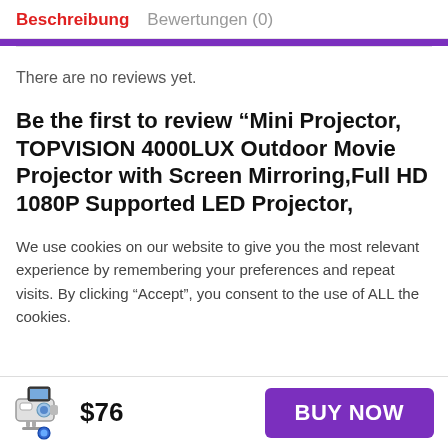Beschreibung  Bewertungen (0)
There are no reviews yet.
Be the first to review “Mini Projector, TOPVISION 4000LUX Outdoor Movie Projector with Screen Mirroring,Full HD 1080P Supported LED Projector,
We use cookies on our website to give you the most relevant experience by remembering your preferences and repeat visits. By clicking “Accept”, you consent to the use of ALL the cookies.
$76  BUY NOW